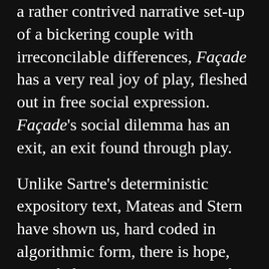a rather contrived narrative set-up of a bickering couple with irreconcilable differences, Façade has a very real joy of play, fleshed out in free social expression. Façade's social dilemma has an exit, an exit found through play.
Unlike Sartre's deterministic expository text, Mateas and Stern have shown us, hard coded in algorithmic form, there is hope, provided we're inventive enough to mediate our differences. Likewise, there is hope for the game industry; Façade has shown us the door, all we have to do is walk through it. If you take my words seriously, running to that door with dewy optimism, there
is a chance you may find it locked by some technical glitch. The way out of the ludic box mig[X] not come intuitively, and the hard problems of interactive drama may seem ill addressed by the above text. I humbly